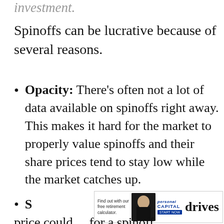investment.
Spinoffs can be lucrative because of several reasons.
Opacity: There’s often not a lot of data available on spinoffs right away. This makes it hard for the market to properly value spinoffs and their share prices tend to stay low while the market catches up.
S... drives
price could… for a spinoff